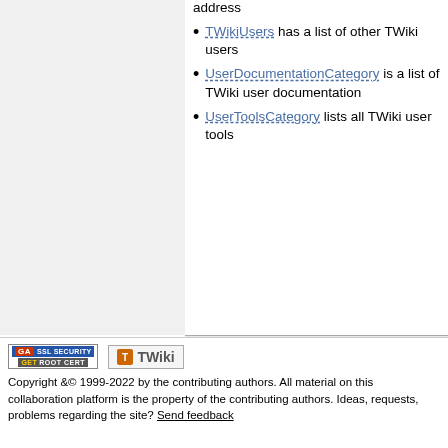address
TWikiUsers has a list of other TWiki users
UserDocumentationCategory is a list of TWiki user documentation
UserToolsCategory lists all TWiki user tools
Edit | WYSIWYG | Attach | Printa... View | Backlinks: Web, All Webs | History: r1 | More topic actions
Copyright &© 1999-2022 by the contributing authors. All material on this collaboration platform is the property of the contributing authors. Ideas, requests, problems regarding the site? Send feedback